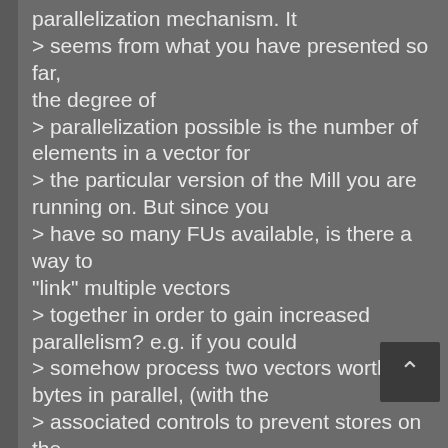parallelization mechanism. It > seems from what you have presented so far, the degree of > parallelization possible is the number of elements in a vector for > the particular version of the Mill you are running on. But since you > have so many FUs available, is there a way to "link" multiple vectors > together in order to gain increased parallelism? e.g. if you could > somehow process two vectors worth of bytes in parallel, (with the > associated controls to prevent stores on the second vector), you > would double the speed of the strcopy example you presented. I am > not sure what I am asking for here but I could see some possible ways